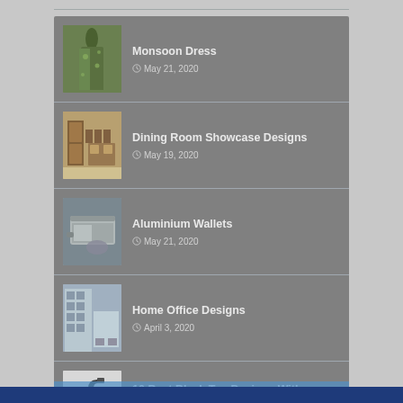Monsoon Dress — May 21, 2020
Dining Room Showcase Designs — May 19, 2020
Aluminium Wallets — May 21, 2020
Home Office Designs — April 3, 2020
10 Best Black Tap Designs With Pictures In India — March 18, 2020